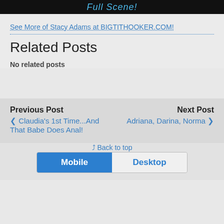[Figure (screenshot): Dark image strip with text 'Full Scene!' in blue italic]
See More of Stacy Adams at BIGTITHOOKER.COM!
Related Posts
No related posts
Previous Post
❮ Claudia's 1st Time...And That Babe Does Anal!
Next Post
Adriana, Darina, Norma ❯
⇪ Back to top
Mobile  Desktop